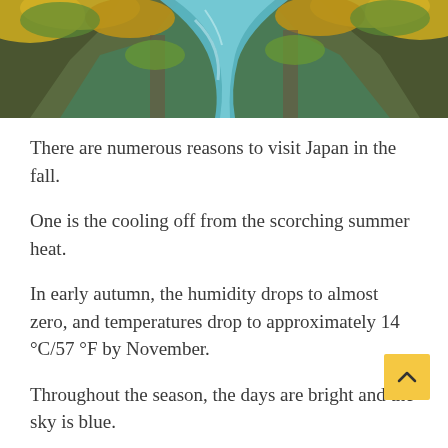[Figure (photo): Aerial view of a river flowing through rocky gorge with lush green and yellow autumn foliage on both sides]
There are numerous reasons to visit Japan in the fall.
One is the cooling off from the scorching summer heat.
In early autumn, the humidity drops to almost zero, and temperatures drop to approximately 14 °C/57 °F by November.
Throughout the season, the days are bright and the sky is blue.
The spectacular seasonal hues prevalent across Japan make fall a terrific time to visit.